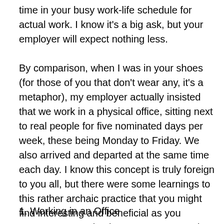time in your busy work-life schedule for actual work. I know it's a big ask, but your employer will expect nothing less.
By comparison, when I was in your shoes (for those of you that don't wear any, it's a metaphor), my employer actually insisted that we work in a physical office, sitting next to real people for five nominated days per week, these being Monday to Friday. We also arrived and departed at the same time each day. I know this concept is truly foreign to you all, but there were some learnings to this rather archaic practice that you might find interesting and beneficial as you commence your business careers armed with your digital graduation certificates.
1. Working in an Office